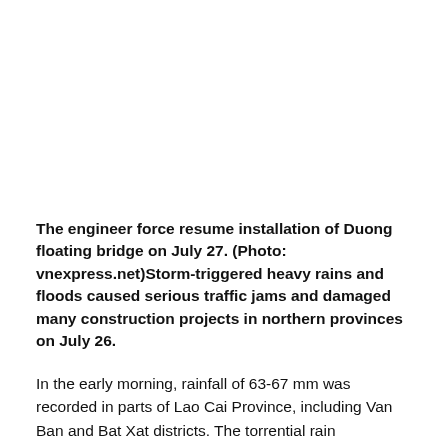The engineer force resume installation of Duong floating bridge on July 27. (Photo: vnexpress.net)Storm-triggered heavy rains and floods caused serious traffic jams and damaged many construction projects in northern provinces on July 26.
In the early morning, rainfall of 63-67 mm was recorded in parts of Lao Cai Province, including Van Ban and Bat Xat districts. The torrential rain destructed many rural